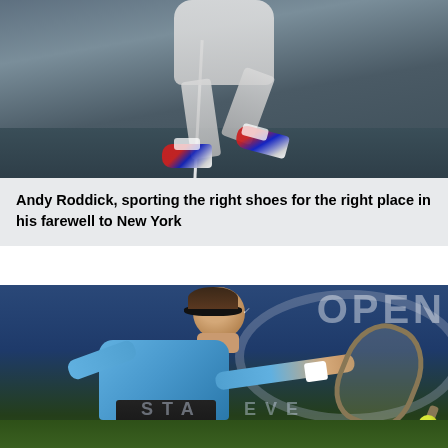[Figure (photo): Close-up photo of Andy Roddick's legs and shoes on a blue tennis court, showing colorful red, white and blue tennis shoes in action during a match at the US Open.]
Andy Roddick, sporting the right shoes for the right place in his farewell to New York
[Figure (photo): Photo of Roger Federer hitting a backhand shot at the US Open, wearing a light blue shirt and black shorts with a headband, with the USTA Event banner visible in the background.]